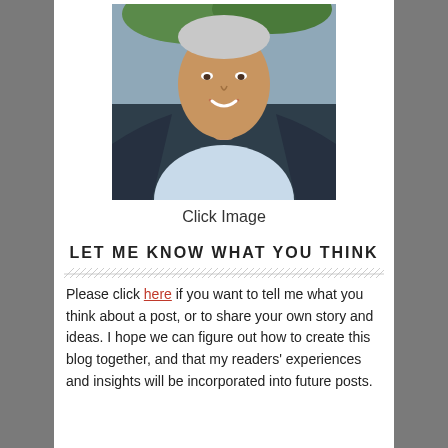[Figure (photo): Headshot of a smiling middle-aged man wearing a dark blazer and light blue open-collar shirt, photographed outdoors.]
Click Image
LET ME KNOW WHAT YOU THINK
Please click here if you want to tell me what you think about a post, or to share your own story and ideas. I hope we can figure out how to create this blog together, and that my readers' experiences and insights will be incorporated into future posts.